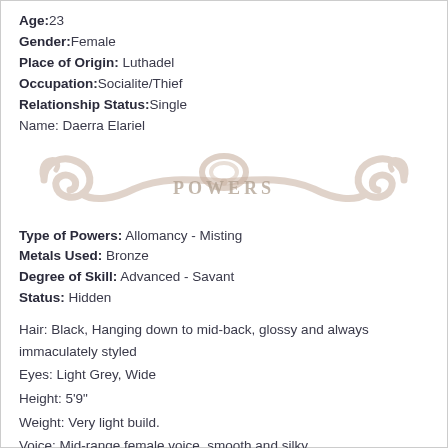Age: 23
Gender: Female
Place of Origin: Luthadel
Occupation: Socialite/Thief
Relationship Status: Single
Name: Daerra Elariel
[Figure (illustration): Decorative ornamental banner with scrollwork and the word POWERS in the center]
Type of Powers: Allomancy - Misting
Metals Used: Bronze
Degree of Skill: Advanced - Savant
Status: Hidden
Hair: Black, Hanging down to mid-back, glossy and always immaculately styled
Eyes: Light Grey, Wide
Height: 5'9"
Weight: Very light build.
Voice: Mid-range female voice, smooth and silky.